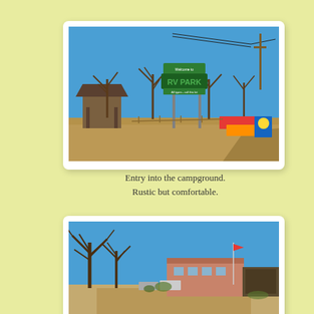[Figure (photo): Entry sign for an RV park with bare winter trees, a covered shelter on the left, and colorful signs near the road. Blue sky background. Sign reads 'Welcome to Homestead Farmhouse RV PARK'.]
Entry into the campground.
Rustic but comfortable.
[Figure (photo): A pink/tan building and campground facilities with bare winter trees in the foreground and a blue sky background. Parking area visible in front.]